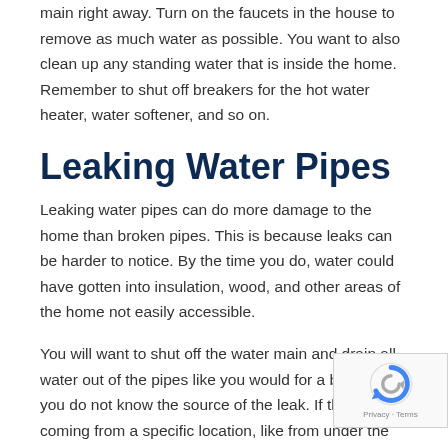main right away. Turn on the faucets in the house to remove as much water as possible. You want to also clean up any standing water that is inside the home. Remember to shut off breakers for the hot water heater, water softener, and so on.
Leaking Water Pipes
Leaking water pipes can do more damage to the home than broken pipes. This is because leaks can be harder to notice. By the time you do, water could have gotten into insulation, wood, and other areas of the home not easily accessible.
You will want to shut off the water main and drain all water out of the pipes like you would for a broken pipe if you do not know the source of the leak. If the leak is coming from a specific location, like from under the